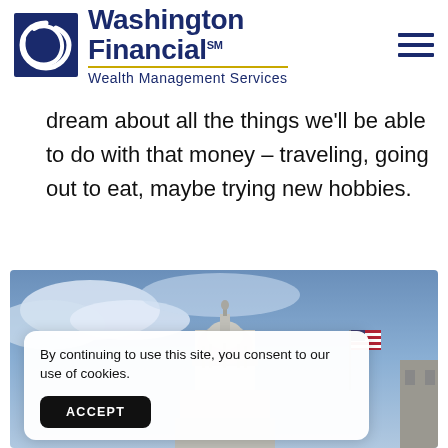Washington Financial™ Wealth Management Services
dream about all the things we'll be able to do with that money – traveling, going out to eat, maybe trying new hobbies.
[Figure (photo): Photo of the US Capitol dome with an American flag against a cloudy blue sky]
By continuing to use this site, you consent to our use of cookies.